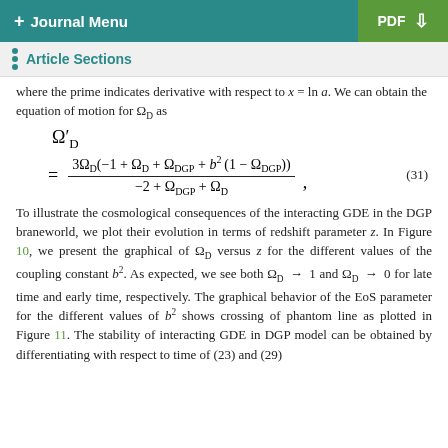+ Journal Menu | PDF
Article Sections
where the prime indicates derivative with respect to x = ln a. We can obtain the equation of motion for Ω_D as
To illustrate the cosmological consequences of the interacting GDE in the DGP braneworld, we plot their evolution in terms of redshift parameter z. In Figure 10, we present the graphical of Ω_D versus z for the different values of the coupling constant b². As expected, we see both Ω_D → 1 and Ω_D → 0 for late time and early time, respectively. The graphical behavior of the EoS parameter for the different values of b² shows crossing of phantom line as plotted in Figure 11. The stability of interacting GDE in DGP model can be obtained by differentiating with respect to time of (23) and (29)